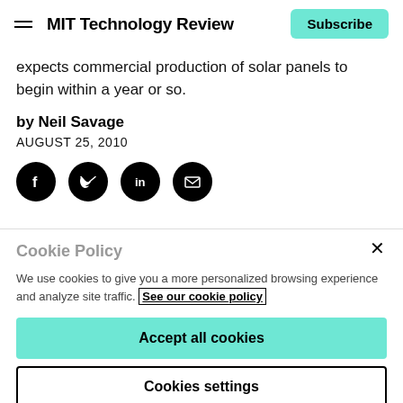MIT Technology Review
expects commercial production of solar panels to begin within a year or so.
by Neil Savage
AUGUST 25, 2010
[Figure (infographic): Four social sharing icons: Facebook, Twitter, LinkedIn, Email — black circles]
Cookie Policy
We use cookies to give you a more personalized browsing experience and analyze site traffic. See our cookie policy
Accept all cookies
Cookies settings